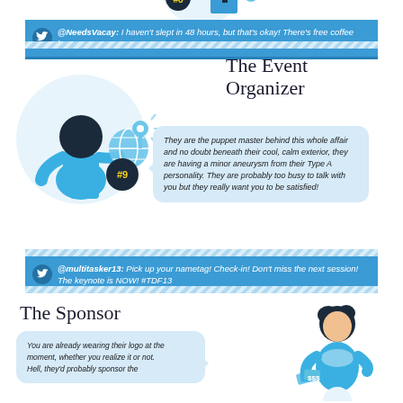[Figure (infographic): Top partial view of a numbered icon #8 with building/person silhouette]
@NeedsVacay: I haven't slept in 48 hours, but that's okay! There's free coffee here! #TDF13
The Event Organizer
[Figure (illustration): Blue stick figure person holding a globe with map pin, circle background, badge #9]
They are the puppet master behind this whole affair and no doubt beneath their cool, calm exterior, they are having a minor aneurysm from their Type A personality. They are probably too busy to talk with you but they really want you to be satisfied!
@multitasker13: Pick up your nametag! Check-in! Don't miss the next session! The keynote is NOW! #TDF13
The Sponsor
You are already wearing their logo at the moment, whether you realize it or not.
Hell, they'd probably sponsor the
[Figure (illustration): Blue female figure with dark hair holding money/cards]